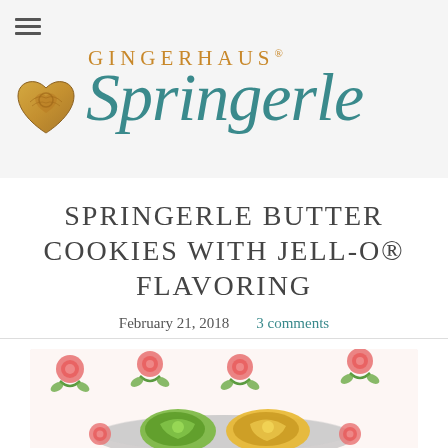[Figure (logo): Gingerhaus Springerle logo with decorative heart-shaped gingerbread mold icon, 'GINGERHAUS' in gold uppercase letters, and 'Springerle' in large teal italic script]
SPRINGERLE BUTTER COOKIES WITH JELL-O® FLAVORING
February 21, 2018    3 comments
[Figure (photo): Photo of colorful springerle butter cookies with floral rose-patterned background, showing green and yellow molded cookies on a plate]